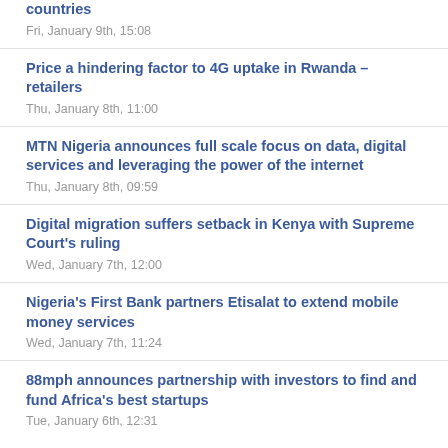countries
Fri, January 9th, 15:08
Price a hindering factor to 4G uptake in Rwanda – retailers
Thu, January 8th, 11:00
MTN Nigeria announces full scale focus on data, digital services and leveraging the power of the internet
Thu, January 8th, 09:59
Digital migration suffers setback in Kenya with Supreme Court's ruling
Wed, January 7th, 12:00
Nigeria's First Bank partners Etisalat to extend mobile money services
Wed, January 7th, 11:24
88mph announces partnership with investors to find and fund Africa's best startups
Tue, January 6th, 12:31